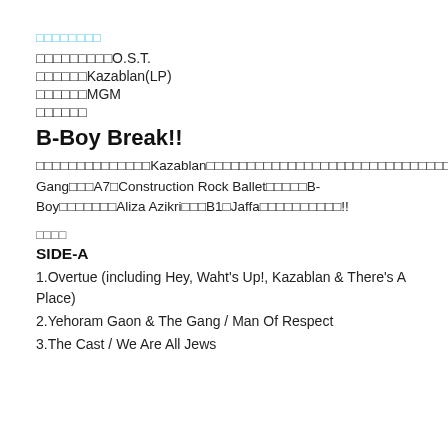□□□□□□□□
□□□□□□□□□O.S.T.
□□□□□□Kazablan(LP)
□□□□□□MGM
□□□□□□
B-Boy Break!!
□□□□□□□□□□□□□□Kazablan□□□□□□□□□□□□□□□□□□□□□□□□□□□□□□□□□□□□□□□□The Gang□□□A7□Construction Rock Ballet□□□□□B-Boy□□□□□□□Aliza Azikri□□□B1□Jaffa□□□□□□□□□□!!
□□□□
SIDE-A
1.Overtue (including Hey, Waht's Up!, Kazablan & There's A Place)
2.Yehoram Gaon & The Gang / Man Of Respect
3.The Cast / We Are All Jews